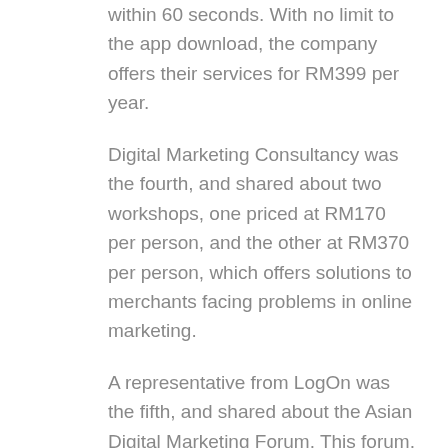within 60 seconds. With no limit to the app download, the company offers their services for RM399 per year.
Digital Marketing Consultancy was the fourth, and shared about two workshops, one priced at RM170 per person, and the other at RM370 per person, which offers solutions to merchants facing problems in online marketing.
A representative from LogOn was the fifth, and shared about the Asian Digital Marketing Forum. This forum, which will be held in Mandarin, will gather 21 speakers from Taiwan, Singapore, the Philippines, and Malaysia. The two-day forum has tickets priced at RM388 per person.
Shogun2U, the sixth market sharer, provides the